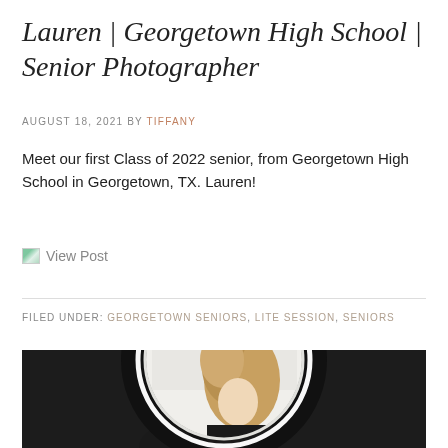Lauren | Georgetown High School | Senior Photographer
AUGUST 18, 2021 BY TIFFANY
Meet our first Class of 2022 senior, from Georgetown High School in Georgetown, TX. Lauren!
View Post
FILED UNDER: GEORGETOWN SENIORS, LITE SESSION, SENIORS
[Figure (photo): A young woman with curly hair photographed through a circular mirror/ring light, with framed artwork visible in the background.]